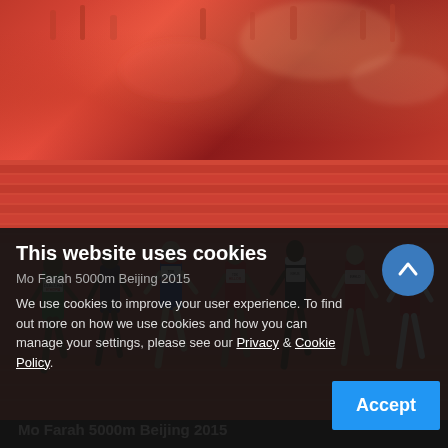[Figure (photo): Red/orange abstract background image — decorative header photo for Mo Farah 5000m Beijing 2015 article]
Mo Farah 5000m Beijing 2015
[Figure (photo): Athletes running in 5000m race on red track, including Mo Farah wearing Great Britain kit (bib: FARAH), surrounded by Ethiopian runners and others, motion-blurred action shot from 2015 Beijing World Championships]
This website uses cookies
Mo Farah 5000m Beijing 2015
We use cookies to improve your user experience. To find out more on how we use cookies and how you can manage your settings, please see our Privacy & Cookie Policy.